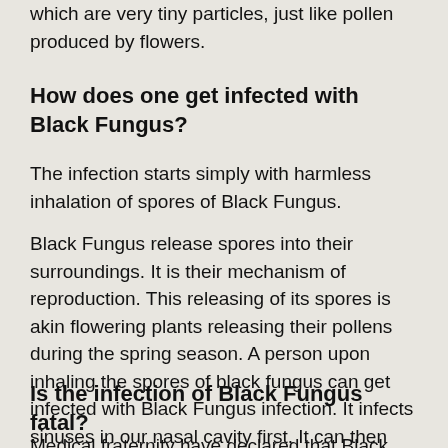which are very tiny particles, just like pollen produced by flowers.
How does one get infected with Black Fungus?
The infection starts simply with harmless inhalation of spores of Black Fungus.
Black Fungus release spores into their surroundings. It is their mechanism of reproduction. This releasing of its spores is akin flowering plants releasing their pollens during the spring season. A person upon inhaling the spores of black fungus can get infected with Black Fungus infection. It infects sinuses in our nasal cavity first. It can then spread to eyes, lungs and even to the brain.
Is the infection of Black Fungus fatal?
Medical fraternity have declared that Black Fungus